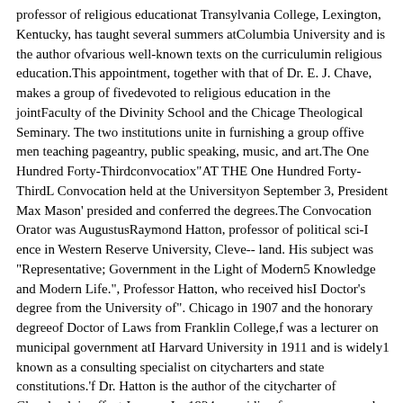professor of religious educationat Transylvania College, Lexington, Kentucky, has taught several summers atColumbia University and is the author ofvarious well-known texts on the curriculumin religious education.This appointment, together with that of Dr. E. J. Chave, makes a group of fivedevoted to religious education in the jointFaculty of the Divinity School and the Chicago Theological Seminary. The two institutions unite in furnishing a group offive men teaching pageantry, public speaking, music, and art.The One Hundred Forty-Thirdconvocatiox"AT THE One Hundred Forty-ThirdL Convocation held at the Universityon September 3, President Max Mason' presided and conferred the degrees.The Convocation Orator was AugustusRaymond Hatton, professor of political sci-I ence in Western Reserve University, Cleve-- land. His subject was "Representative; Government in the Light of Modern5 Knowledge and Modern Life.", Professor Hatton, who received hisI Doctor's degree from the University of". Chicago in 1907 and the honorary degreeof Doctor of Laws from Franklin College,f was a lecturer on municipal government atI Harvard University in 1911 and is widely1 known as a consulting specialist on citycharters and state constitutions.'f Dr. Hatton is the author of the citycharter of Cleveland, in effect January I,a 1924, providing for a manager and councilI elected by proportional representation ; and)' for three years he has been a member of the3 city council. He is also charter consultantfor the National Municipal League.e During the second term of the Summeri